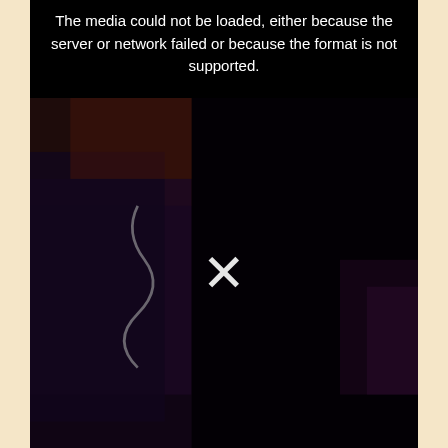[Figure (other): A media player UI showing a black error area at the top with the message 'The media could not be loaded, either because the server or network failed or because the format is not supported.' Below is a dark video still showing a person in a dimly lit scene with purple/red lighting and an X symbol overlaid in the center indicating media playback failure.]